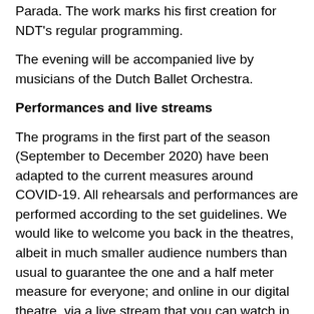Parada. The work marks his first creation for NDT's regular programming.
The evening will be accompanied live by musicians of the Dutch Ballet Orchestra.
Performances and live streams
The programs in the first part of the season (September to December 2020) have been adapted to the current measures around COVID-19. All rehearsals and performances are performed according to the set guidelines. We would like to welcome you back in the theatres, albeit in much smaller audience numbers than usual to guarantee the one and a half meter measure for everyone; and online in our digital theatre, via a live stream that you can watch in your own living room. For both options, it is by no means a diluted theatre experience. The dancers and support teams make every effort to make your visit to one of the performances in